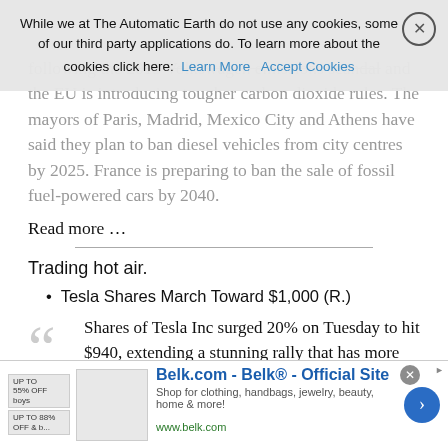While we at The Automatic Earth do not use any cookies, some of our third party applications do. To learn more about the cookies click here: Learn More | Accept Cookies
following the 2015 Volkswagen emissions scandal and the EU is introducing tougher carbon dioxide rules. The mayors of Paris, Madrid, Mexico City and Athens have said they plan to ban diesel vehicles from city centres by 2025. France is preparing to ban the sale of fossil fuel-powered cars by 2040.
Read more …
Trading hot air.
Tesla Shares March Toward $1,000 (R.)
Shares of Tesla Inc surged 20% on Tuesday to hit $940, extending a stunning rally that has more than doubled the company's market value since the start of the year as more investors bet on Chief